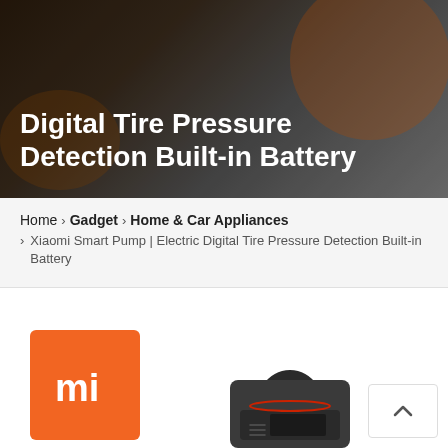[Figure (photo): Hero banner with dark background showing product context. Text overlay reads 'Digital Tire Pressure Detection Built-in Battery' in white bold font.]
Digital Tire Pressure Detection Built-in Battery
Home > Gadget > Home & Car Appliances > Xiaomi Smart Pump | Electric Digital Tire Pressure Detection Built-in Battery
[Figure (logo): Xiaomi MI logo — white 'mi' text on orange square background]
[Figure (photo): Xiaomi Smart Pump product photo — compact dark gray electric pump resembling a padlock shape with a curved hose on top]